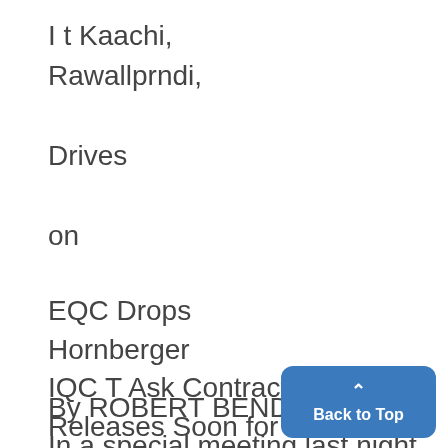I t Kaachi, Rawallprndi,
Drives
on
EQC Drops Hornberger IQC T Ask Contract Releases Soon for Upperclass Pledges
By ROBERT BENDELOW
In a special meeting last night,